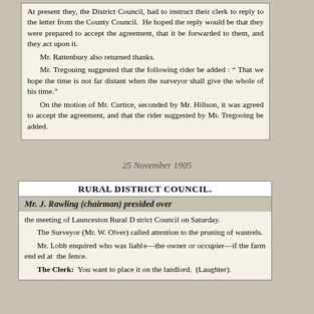At present they, the District Council, had to instruct their clerk to reply to the letter from the County Council. He hoped the reply would be that they were prepared to accept the agreement, that it be forwarded to them, and they act upon it.
    Mr. Rattenbury also returned thanks.
    Mr. Tregouing suggested that the following rider be added : "That we hope the time is not far distant when the surveyor shall give the whole of his time."
    On the motion of Mr. Curtice, seconded by Mr. Hillson, it was agreed to accept the agreement, and that the rider suggested by Mr. Tregooing be added.
25 November 1905
RURAL DISTRICT COUNCIL.
Mr. J. Rawling (chairman) presided over
the meeting of Launceston Rural District Council on Saturday.
    The Surveyor (Mr. W. Olver) called attention to the pruning of wastrels.
    Mr. Lobb enquired who was liable—the owner or occupier—if the farm ended at the fence.
    The Clerk: You want to place it on the landlord. (Laughter).